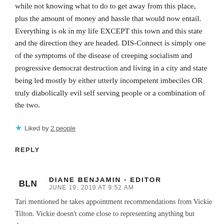while not knowing what to do to get away from this place, plus the amount of money and hassle that would now entail. Everything is ok in my life EXCEPT this town and this state and the direction they are headed. DIS-Connect is simply one of the symptoms of the disease of creeping socialism and progressive democrat destruction and living in a city and state being led mostly by either utterly incompetent imbeciles OR truly diabolically evil self serving people or a combination of the two.
★ Liked by 2 people
REPLY
DIANE BENJAMIN - EDITOR
JUNE 19, 2019 AT 9:52 AM
Tari mentioned he takes appointment recommendations from Vickie Tilton. Vickie doesn't come close to representing anything but downtown.